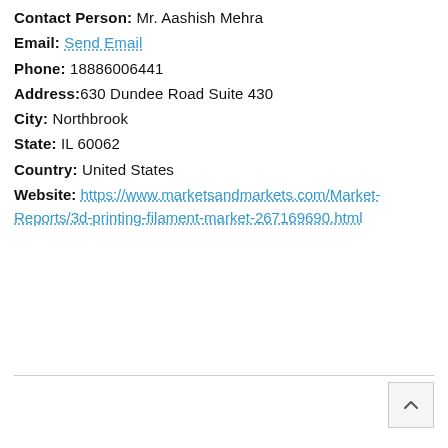Contact Person: Mr. Aashish Mehra
Email: Send Email
Phone: 18886006441
Address: 630 Dundee Road Suite 430
City: Northbrook
State: IL 60062
Country: United States
Website: https://www.marketsandmarkets.com/Market-Reports/3d-printing-filament-market-267169690.html